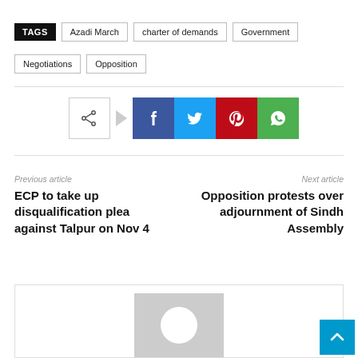TAGS   Azadi March   charter of demands   Government   Negotiations   Opposition
[Figure (infographic): Social share buttons: share icon box, Facebook (blue), Twitter (cyan), Pinterest (red), WhatsApp (green)]
Previous article
ECP to take up disqualification plea against Talpur on Nov 4
Next article
Opposition protests over adjournment of Sindh Assembly
[Figure (photo): Grey placeholder avatar image with white circle in center, inside a bordered card]